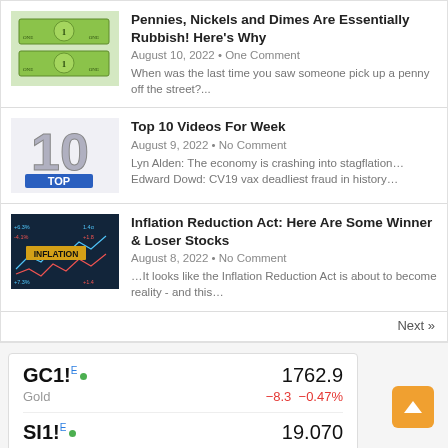Pennies, Nickels and Dimes Are Essentially Rubbish! Here's Why
August 10, 2022 • One Comment
When was the last time you saw someone pick up a penny off the street?...
Top 10 Videos For Week
August 9, 2022 • No Comment
Lyn Alden: The economy is crashing into stagflation... Edward Dowd: CV19 vax deadliest fraud in history...
Inflation Reduction Act: Here Are Some Winner & Loser Stocks
August 8, 2022 • No Comment
...It looks like the Inflation Reduction Act is about to become reality - and this...
Next »
[Figure (infographic): Financial ticker widget showing GC1! (Gold) at 1762.9, change -8.3 -0.47%, and SI1! (Silver) at 19.070, change -0.395 -2.03%]